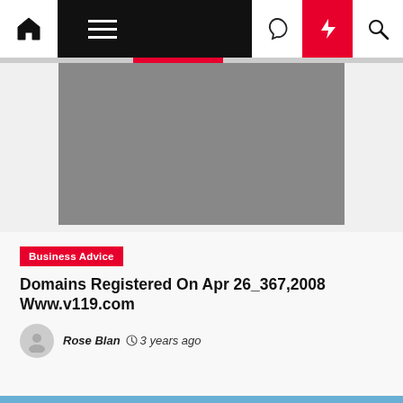Navigation bar with home, menu, dark mode, flash, and search icons
[Figure (photo): Gray placeholder image for article thumbnail]
Business Advice
Domains Registered On Apr 26_367,2008 Www.v119.com
Rose Blan  3 years ago